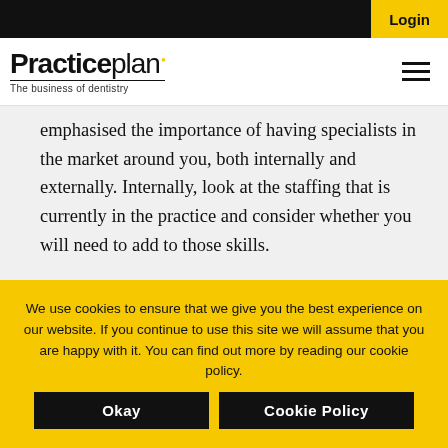Login
[Figure (logo): Practiceplan logo with tagline 'The business of dentistry']
emphasised the importance of having specialists in the market around you, both internally and externally. Internally, look at the staffing that is currently in the practice and consider whether you will need to add to those skills.
We use cookies to ensure that we give you the best experience on our website. If you continue to use this site we will assume that you are happy with it. You can find out more by reading our cookie policy.
Okay
Cookie Policy